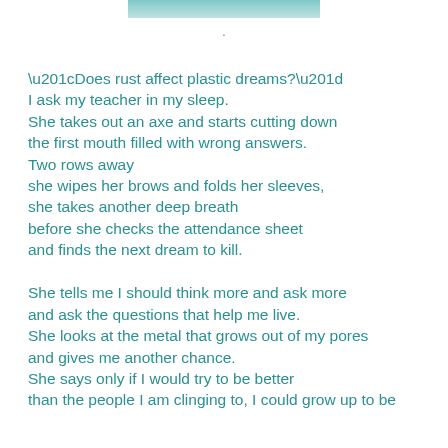[Figure (photo): Partial image strip at top of page showing a teal/blue-green nature or sky image]
.
“Does rust affect plastic dreams?”
I ask my teacher in my sleep.
She takes out an axe and starts cutting down
the first mouth filled with wrong answers.
Two rows away
she wipes her brows and folds her sleeves,
she takes another deep breath
before she checks the attendance sheet
and finds the next dream to kill.

She tells me I should think more and ask more
and ask the questions that help me live.
She looks at the metal that grows out of my pores
and gives me another chance.
She says only if I would try to be better
than the people I am clinging to, I could grow up to be